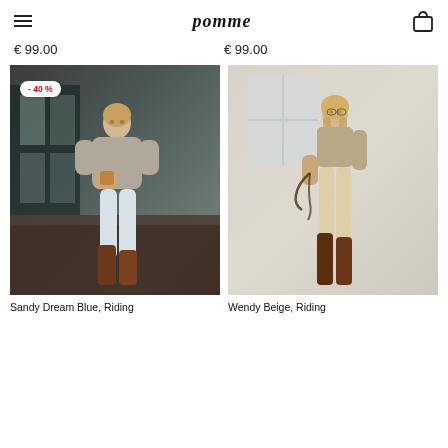pomme
€ 99.00   € 99.00
[Figure (photo): Woman wearing grey sweatshirt and light blue riding tights with brown riding boots, standing in a rustic stable interior. A -40% sale badge is shown on the image.]
[Figure (photo): Woman wearing beige ribbed top and beige riding tights with tall brown riding boots, holding equestrian tack in a bright studio setting.]
Sandy Dream Blue, Riding
Wendy Beige, Riding